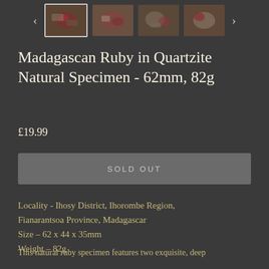[Figure (screenshot): Thumbnail strip with left/right navigation arrows and four product thumbnail images of a Madagascan Ruby in Quartzite specimen. First thumbnail is selected/highlighted with a border.]
Madagascan Ruby in Quartzite Natural Specimen - 62mm, 82g
£19.99
SOLD OUT
Locality - Ihosy District, Ihorombe Region, Fianarantsoa Province, Madagascar
Size – 62 x 44 x 35mm
Weight – 82g
This natural ruby specimen features two exquisite, deep